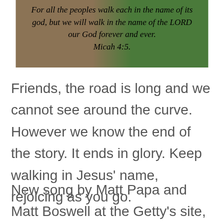[Figure (photo): A pathway photo with a grassy edge and dirt path, overlaid with italic scripture text reading: For all the peoples walk each in the name of its god, but we will walk in the name of the LORD our God forever and ever. Micah 4:5.]
Friends, the road is long and we cannot see around the curve. However we know the end of the story. It ends in glory. Keep walking in Jesus’ name, rejoicing as you go.
New song by Matt Papa and Matt Boswell at the Getty’s site, “Almost